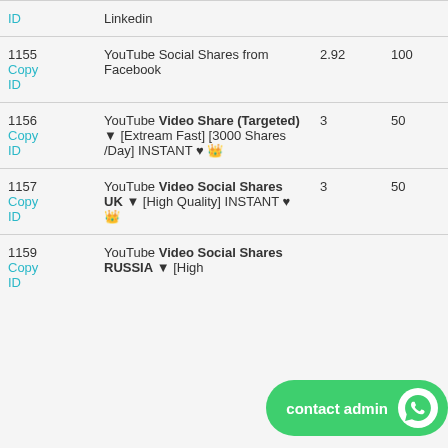| ID | Name | Price | Min | Max |
| --- | --- | --- | --- | --- |
| ID
Copy
ID | Linkedin |  |  |  |
| 1155
Copy
ID | YouTube Social Shares from Facebook | 2.92 | 100 | 100 |
| 1156
Copy
ID | YouTube Video Share (Targeted) ▼ [Extream Fast] [3000 Shares /Day] INSTANT ♥ 👑 | 3 | 50 | 100 |
| 1157
Copy
ID | YouTube Video Social Shares UK ▼ [High Quality] INSTANT ♥ 👑 | 3 | 50 | 100 |
| 1159
Copy
ID | YouTube Video Social Shares RUSSIA ▼ [High |  |  |  |